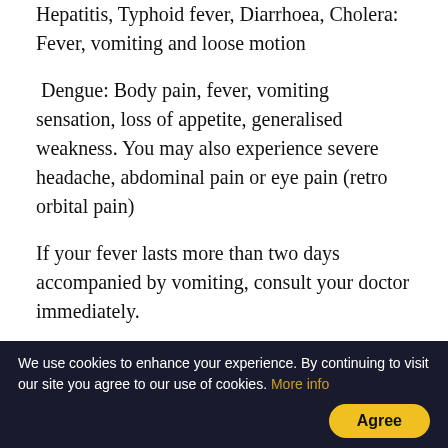Hepatitis, Typhoid fever, Diarrhoea, Cholera: Fever, vomiting and loose motion
Dengue: Body pain, fever, vomiting sensation, loss of appetite, generalised weakness. You may also experience severe headache, abdominal pain or eye pain (retro orbital pain)
If your fever lasts more than two days accompanied by vomiting, consult your doctor immediately.
More From The Section
[Figure (photo): Photograph of tree branches against a light sky]
We use cookies to enhance your experience. By continuing to visit our site you agree to our use of cookies. More info